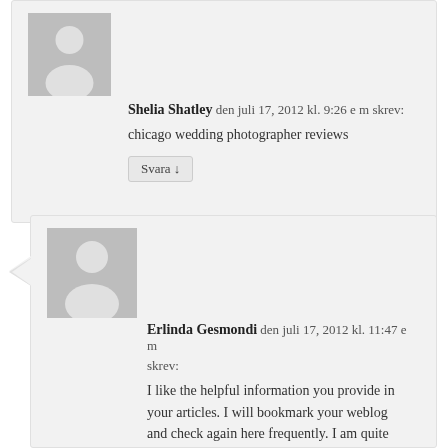[Figure (illustration): Gray avatar placeholder silhouette for Shelia Shatley]
Shelia Shatley den juli 17, 2012 kl. 9:26 e m skrev:
chicago wedding photographer reviews
Svara ↓
[Figure (illustration): Gray avatar placeholder silhouette for Erlinda Gesmondi]
Erlinda Gesmondi den juli 17, 2012 kl. 11:47 e m skrev:
I like the helpful information you provide in your articles. I will bookmark your weblog and check again here frequently. I am quite sure I'll learn lots of new stuff right here! Good luck for the next!
Svara ↓